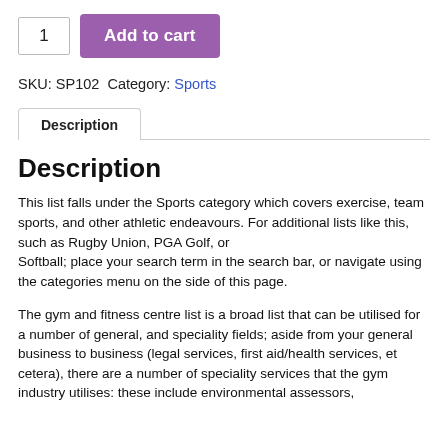1  Add to cart
SKU: SP102  Category: Sports
Description
Description
This list falls under the Sports category which covers exercise, team sports, and other athletic endeavours. For additional lists like this, such as Rugby Union, PGA Golf, or Softball; place your search term in the search bar, or navigate using the categories menu on the side of this page.
The gym and fitness centre list is a broad list that can be utilised for a number of general, and speciality fields; aside from your general business to business (legal services, first aid/health services, et cetera), there are a number of speciality services that the gym industry utilises: these include environmental assessors,